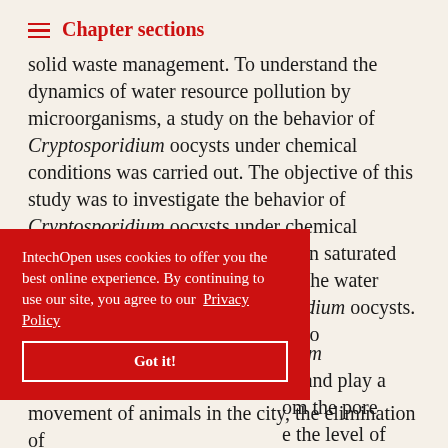Chapter sections
solid waste management. To understand the dynamics of water resource pollution by microorganisms, a study on the behavior of Cryptosporidium oocysts under chemical conditions was carried out. The objective of this study was to investigate the behavior of Cryptosporidium oocysts under chemical conditions and soil characteristics in saturated porous media and to describe also the water pollution dynamics of Cryptosporidium oocysts. Batch equilibrium tests were used to [Cryptosporidium] and play a [from the pore] [the level of] [s through the] [ent the free movement of animals in the city, the elimination of]
IntechOpen uses cookies to offer you the best online experience. By continuing to use our site, you agree to our Privacy Policy
Got it!
movement of animals in the city, the elimination of